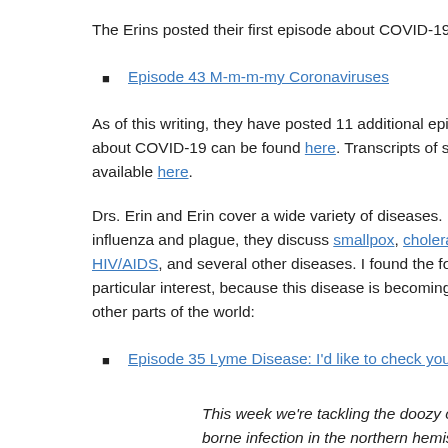The Erins posted their first episode about COVID-19 on Februa…
Episode 43 M-m-m-my Coronaviruses
As of this writing, they have posted 11 additional episodes about COVID-19. A full list of episodes about COVID-19 can be found here. Transcripts of several of these episodes are available here.
Drs. Erin and Erin cover a wide variety of diseases. In the first seasons, beyond influenza and plague, they discuss smallpox, cholera, polio, malaria, HIV/AIDS, and several other diseases. I found the following episode of particular interest, because this disease is becoming more prevalent in the US and other parts of the world:
Episode 35 Lyme Disease: I'd like to check you for ticks
This week we're tackling the doozy of a disease called L… borne infection in the northern hemisphere. Tune in to h…